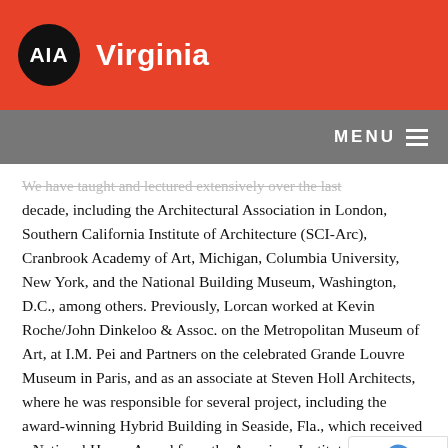AIA Virginia
We have taught and lectured extensively over the last decade, including the Architectural Association in London, Southern California Institute of Architecture (SCI-Arc), Cranbrook Academy of Art, Michigan, Columbia University, New York, and the National Building Museum, Washington, D.C., among others. Previously, Lorcan worked at Kevin Roche/John Dinkeloo & Assoc. on the Metropolitan Museum of Art, at I.M. Pei and Partners on the celebrated Grande Louvre Museum in Paris, and as an associate at Steven Holl Architects, where he was responsible for several project, including the award-winning Hybrid Building in Seaside, Fla., which received a National Honor Award from the American Institute of Architects.